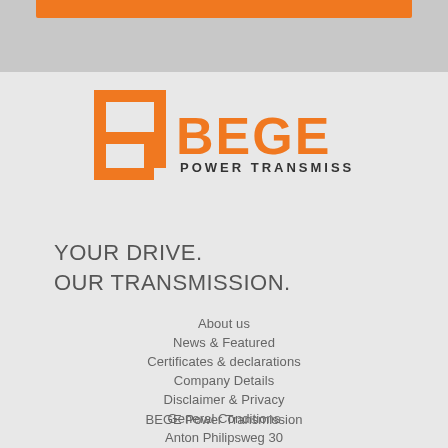[Figure (logo): BEGE Power Transmission logo with orange geometric B icon and bold BEGE text with POWER TRANSMISSION subtitle]
YOUR DRIVE.
OUR TRANSMISSION.
About us
News & Featured
Certificates & declarations
Company Details
Disclaimer & Privacy
General Conditions
BEGE Power Transmission
Anton Philipsweg 30